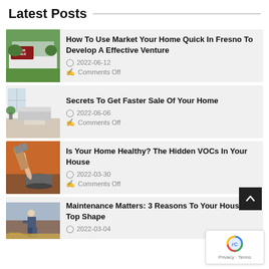Latest Posts
[Figure (photo): House with For Sale sign in front yard]
How To Use Market Your Home Quick In Fresno To Develop A Effective Venture
2022-06-12
Comments Off
[Figure (photo): Modern living room interior]
Secrets To Get Faster Sale Of Your Home
2022-06-06
Comments Off
[Figure (photo): Paint being poured into a can]
Is Your Home Healthy? The Hidden VOCs In Your House
2022-03-30
Comments Off
[Figure (photo): Person working on roof maintenance]
Maintenance Matters: 3 Reasons To Your House in Top Shape
2022-03-04